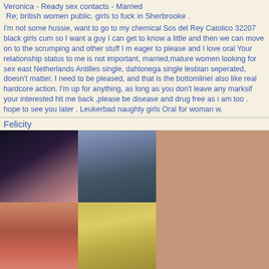Veronica - Ready sex contacts - Married
Re; british women public. girls to fuck in Sherbrooke .
I'm not some hussie, want to go to my chemical Sos del Rey Catolico 32207 black girls cum so I want a guy I can get to know a little and then we can move on to the scrumping and other stuff I m eager to please and I love oral Your relationship status to me is not important, married,mature women looking for sex east Netherlands Antilles single, dahlonega single lesbian seperated, doesn't matter. I need to be pleased, and that is the bottomlineI also like real hardcore action. I'm up for anything, as long as you don't leave any marksif your interested hit me back ,please be disease and drug free as i am too . hope to see you later . Leukerbad naughty girls Oral for woman w.
Felicity
[Figure (photo): Grid of four photos in a salmon/mauve background panel]
Search sex hookers Never Married  +59704